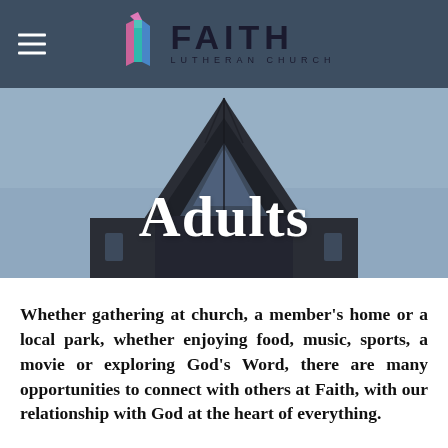FAITH LUTHERAN CHURCH
[Figure (photo): Hero image of a modern church building spire/steeple against a blue-grey sky, with the word 'Adults' overlaid in large white bold serif font]
Adults
Whether gathering at church, a member's home or a local park, whether enjoying food, music, sports, a movie or exploring God's Word, there are many opportunities to connect with others at Faith, with our relationship with God at the heart of everything.